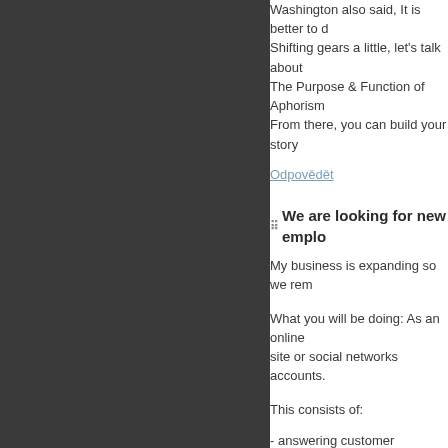Washington also said, It is better to d
Shifting gears a little, let's talk about
The Purpose & Function of Aphorism
From there, you can build your story
Odpovědět
We are looking for new emplo
My business is expanding so we rem
What you will be doing: As an online site or social networks accounts.
This consists of:
- answering customer concerns,
- giving sales links,
- and supplying discounts.
Full training is provided so you do no
Rate: $0.50 per minute ($ 30 per hr).
Skills/background needed:.
- Should have an equipment able to
- Be able to function independently.